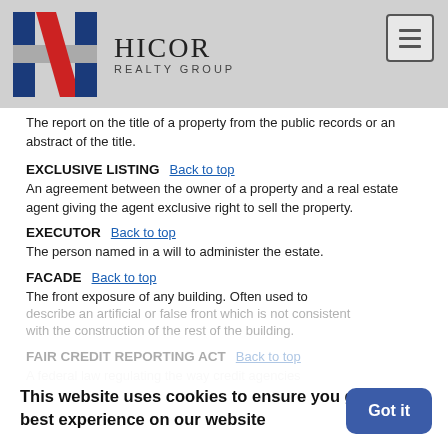HICOR REALTY GROUP
The report on the title of a property from the public records or an abstract of the title.
EXCLUSIVE LISTING
An agreement between the owner of a property and a real estate agent giving the agent exclusive right to sell the property.
EXECUTOR
The person named in a will to administer the estate.
FACADE
The front exposure of any building. Often used to describe an artificial or false front which is not consistent with the construction of the rest of the building.
FAIR CREDIT REPORTING ACT
A federal law regulating the way credit agencies
This website uses cookies to ensure you get the best experience on our website